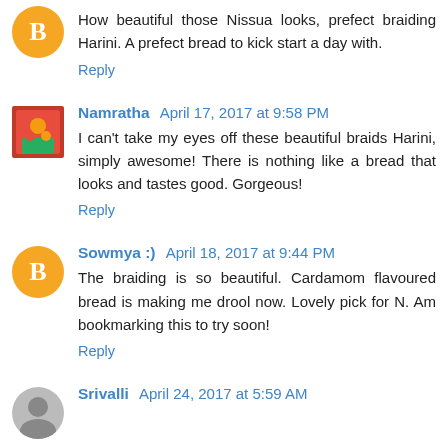How beautiful those Nissua looks, prefect braiding Harini. A prefect bread to kick start a day with.
Reply
Namratha  April 17, 2017 at 9:58 PM
I can't take my eyes off these beautiful braids Harini, simply awesome! There is nothing like a bread that looks and tastes good. Gorgeous!
Reply
Sowmya :)  April 18, 2017 at 9:44 PM
The braiding is so beautiful. Cardamom flavoured bread is making me drool now. Lovely pick for N. Am bookmarking this to try soon!
Reply
Srivalli  April 24, 2017 at 5:59 AM